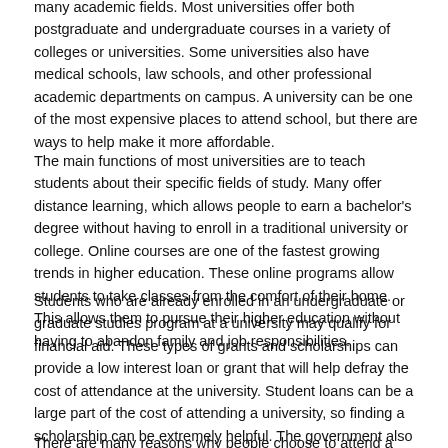many academic fields. Most universities offer both postgraduate and undergraduate courses in a variety of colleges or universities. Some universities also have medical schools, law schools, and other professional academic departments on campus. A university can be one of the most expensive places to attend school, but there are ways to help make it more affordable.
The main functions of most universities are to teach students about their specific fields of study. Many offer distance learning, which allows people to earn a bachelor's degree without having to enroll in a traditional university or college. Online courses are one of the fastest growing trends in higher education. These online programs allow students to take classes from the comfort of their home. This allows them to pursue their higher education without having to abandon family and job responsibilities.
Students who are already enrolled in an undergraduate or graduate studies program at a university may qualify for financial aid. These types of grants and scholarships can provide a low interest loan or grant that will help defray the cost of attendance at the university. Student loans can be a large part of the cost of attending a university, so finding a scholarship can be extremely helpful. The government also provides money for students to go to college. In addition to the government grants and scholarships, students can apply for student loans from a bank, credit union, or other financial institution.
There are many reasons why people choose to attend a university other than